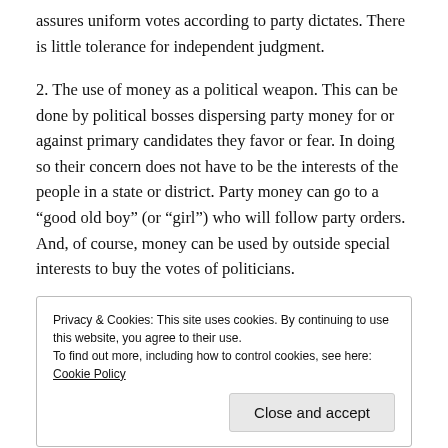assures uniform votes according to party dictates. There is little tolerance for independent judgment.
2. The use of money as a political weapon. This can be done by political bosses dispersing party money for or against primary candidates they favor or fear. In doing so their concern does not have to be the interests of the people in a state or district. Party money can go to a “good old boy” (or “girl”) who will follow party orders. And, of course, money can be used by outside special interests to buy the votes of politicians.
Privacy & Cookies: This site uses cookies. By continuing to use this website, you agree to their use.
To find out more, including how to control cookies, see here: Cookie Policy
Close and accept
3. The use of distortion or lying that turns the campaign